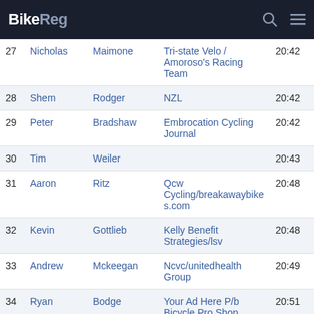BikeReg
| # | First | Last | Team | Time |
| --- | --- | --- | --- | --- |
| 27 | Nicholas | Maimone | Tri-state Velo / Amoroso's Racing Team | 20:42 |
| 28 | Shem | Rodger | NZL | 20:42 |
| 29 | Peter | Bradshaw | Embrocation Cycling Journal | 20:42 |
| 30 | Tim | Weiler |  | 20:43 |
| 31 | Aaron | Ritz | Qcw Cycling/breakawaybikes.com | 20:48 |
| 32 | Kevin | Gottlieb | Kelly Benefit Strategies/lsv | 20:48 |
| 33 | Andrew | Mckeegan | Ncvc/unitedhealth Group | 20:49 |
| 34 | Ryan | Bodge | Your Ad Here P/b Bicycle Pro Shop | 20:51 |
| 35 | Jamie | Clinton | Team Thru-it-all Body Shop Inc. | 20:54 |
| 36 | Ralph | Muoio | Kelly Benefit Strategies/lsv | 20:55 |